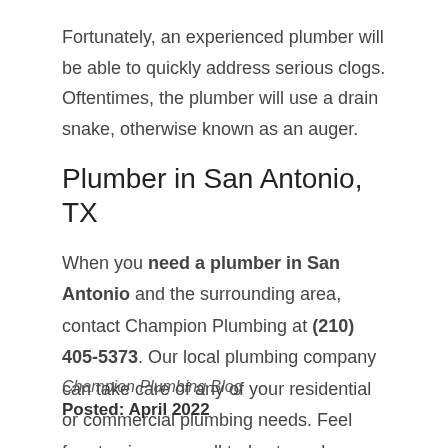Fortunately, an experienced plumber will be able to quickly address serious clogs. Oftentimes, the plumber will use a drain snake, otherwise known as an auger.
Plumber in San Antonio, TX
When you need a plumber in San Antonio and the surrounding area, contact Champion Plumbing at (210) 405-5373. Our local plumbing company can take care of any of your residential or commercial plumbing needs. Feel free to give us a call today to make an appointment!
Champion Plumbing Blog
Posted: April 2022